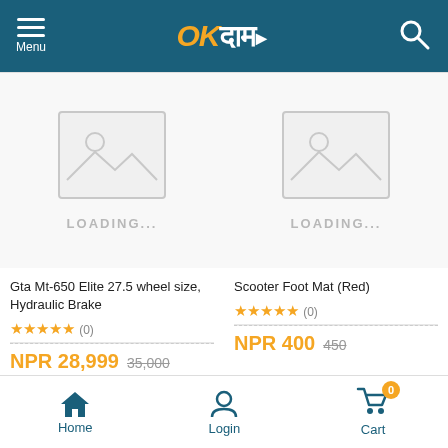Menu | OKदाम | Search
[Figure (other): Product image placeholder with LOADING... text for Gta Mt-650 Elite 27.5 wheel size, Hydraulic Brake]
Gta Mt-650 Elite 27.5 wheel size, Hydraulic Brake
★★★★★ (0)
NPR 28,999  35,000
[Figure (other): Product image placeholder with LOADING... text for Scooter Foot Mat (Red)]
Scooter Foot Mat (Red)
★★★★★ (0)
NPR 400  450
Home | Login | Cart (0)